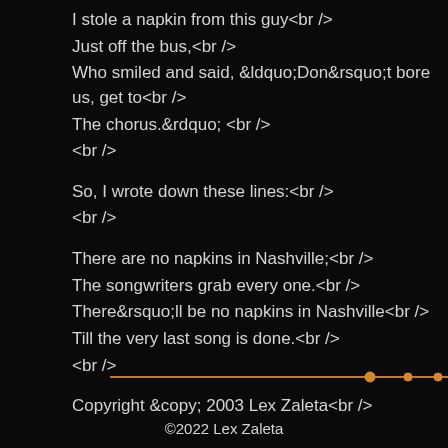I stole a napkin from this guy<br />
Just off the bus,<br />
Who smiled and said, &ldquo;Don&rsquo;t bore us, get to<br />
The chorus.&rdquo; <br />
<br />
So, I wrote down these lines:<br />
<br />
There are no napkins in Nashville;<br />
The songwriters grab every one.<br />
There&rsquo;ll be no napkins in Nashville<br />
Till the very last song is done.<br />
<br />
Copyright &copy; 2003 Lex Zaleta<br />
[Figure (other): An orange/amber audio progress bar with dots/markers on a dark background, appearing at the bottom of the page.]
©2022 Lex Zaleta